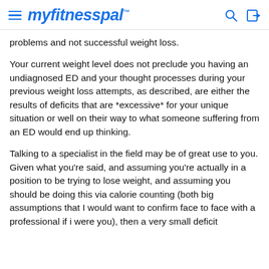myfitnesspal
problems and not successful weight loss.
Your current weight level does not preclude you having an undiagnosed ED and your thought processes during your previous weight loss attempts, as described, are either the results of deficits that are *excessive* for your unique situation or well on their way to what someone suffering from an ED would end up thinking.
Talking to a specialist in the field may be of great use to you. Given what you're said, and assuming you're actually in a position to be trying to lose weight, and assuming you should be doing this via calorie counting (both big assumptions that I would want to confirm face to face with a professional if i were you), then a very small deficit